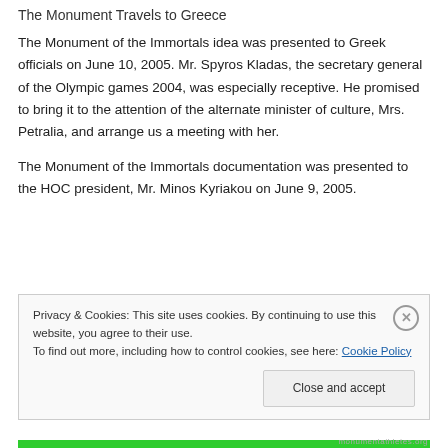The Monument Travels to Greece
The Monument of the Immortals idea was presented to Greek officials on June 10, 2005. Mr. Spyros Kladas, the secretary general of the Olympic games 2004, was especially receptive. He promised to bring it to the attention of the alternate minister of culture, Mrs. Petralia, and arrange us a meeting with her.
The Monument of the Immortals documentation was presented to the HOC president, Mr. Minos Kyriakou on June 9, 2005.
Privacy & Cookies: This site uses cookies. By continuing to use this website, you agree to their use.
To find out more, including how to control cookies, see here: Cookie Policy
Close and accept